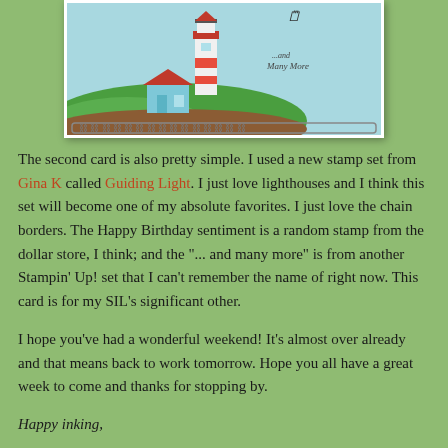[Figure (illustration): A greeting card featuring a lighthouse scene with a red-roofed lighthouse and a small blue house on green hills, with a decorative chain border at the bottom, on a light blue background. Partial view of the top of the card.]
The second card is also pretty simple. I used a new stamp set from Gina K called Guiding Light. I just love lighthouses and I think this set will become one of my absolute favorites. I just love the chain borders. The Happy Birthday sentiment is a random stamp from the dollar store, I think; and the "... and many more" is from another Stampin' Up! set that I can't remember the name of right now. This card is for my SIL's significant other.
I hope you've had a wonderful weekend! It's almost over already and that means back to work tomorrow. Hope you all have a great week to come and thanks for stopping by.
Happy inking,
Donna